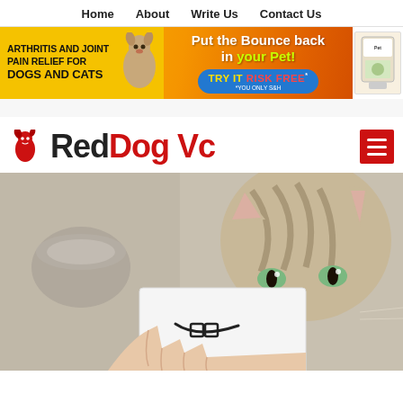Home   About   Write Us   Contact Us
[Figure (infographic): Advertisement banner: Arthritis and Joint Pain Relief for Dogs and Cats. Put the Bounce back in your Pet! TRY IT RISK FREE*. Yellow/orange gradient background with dog photo on left and product image on right.]
Red Dog Vc
[Figure (photo): A kitten holding up a white card with a drawn smile/mouth in front of its face; a hand holds the card from below. A blurry bowl is visible in the background on the left.]